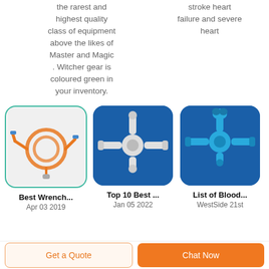the rarest and highest quality class of equipment above the likes of Master and Magic . Witcher gear is coloured green in your inventory.
stroke heart failure and severe heart
[Figure (photo): Medical IV tubing set with orange transparent tubing coiled in a circle, with connectors, on white background inside rounded card with teal border]
[Figure (photo): White three-way stopcock valve with clear connectors on blue background inside rounded card]
[Figure (photo): Blue three-way stopcock valve with clear connectors on blue background inside rounded card]
Best Wrench...
Apr 03 2019
Top 10 Best ...
Jan 05 2022
List of Blood...
WestSide 21st
Get a Quote
Chat Now